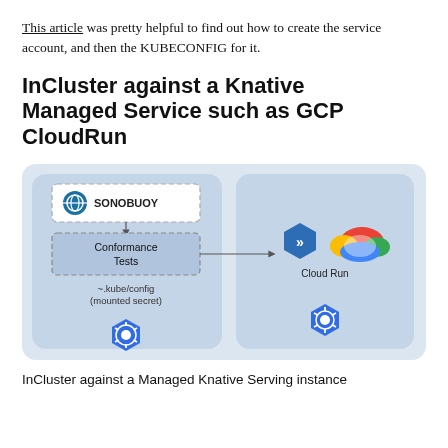This article was pretty helpful to find out how to create the service account, and then the KUBECONFIG for it.
InCluster against a Knative Managed Service such as GCP CloudRun
[Figure (infographic): Architecture diagram showing InCluster running against a Managed Knative Serving instance. Left panel shows SONOBUOY at top, with arrow pointing down to Conformance Tests box, and ~/.kube/config (mounted secret) label below, with Kubernetes logo at bottom. An arrow points right from Conformance Tests to right panel showing Knative hexagon logo, Google Cloud logo labeled Cloud Run, and Kubernetes logo.]
InCluster against a Managed Knative Serving instance